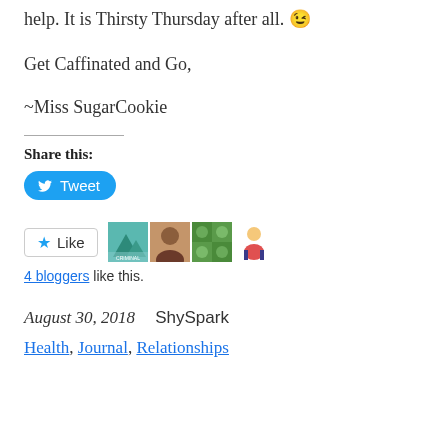help. It is Thirsty Thursday after all. 😉
Get Caffinated and Go,
~Miss SugarCookie
Share this:
[Figure (other): Tweet button (Twitter share button, blue rounded rectangle with bird icon and 'Tweet' label)]
[Figure (other): Like button with star icon and 4 blogger avatar thumbnails]
4 bloggers like this.
August 30, 2018   ShySpark
Health, Journal, Relationships